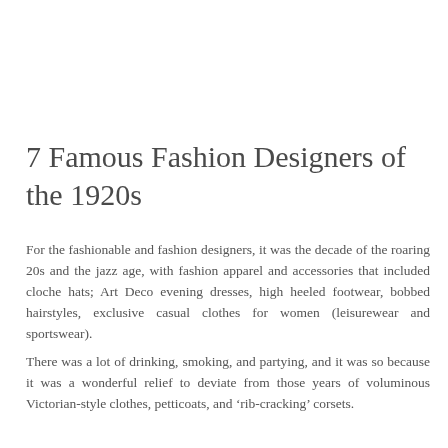7 Famous Fashion Designers of the 1920s
For the fashionable and fashion designers, it was the decade of the roaring 20s and the jazz age, with fashion apparel and accessories that included cloche hats; Art Deco evening dresses, high heeled footwear, bobbed hairstyles, exclusive casual clothes for women (leisurewear and sportswear).
There was a lot of drinking, smoking, and partying, and it was so because it was a wonderful relief to deviate from those years of voluminous Victorian-style clothes, petticoats, and ‘rib-cracking’ corsets.